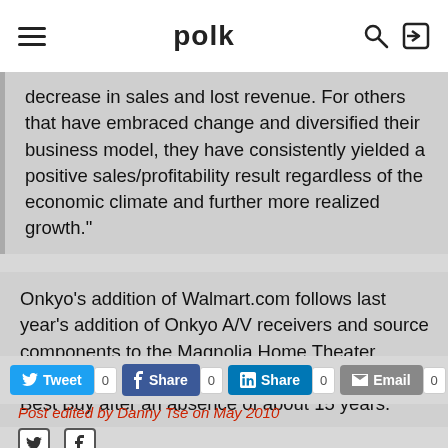polk
decrease in sales and lost revenue. For others that have embraced change and diversified their business model, they have consistently yielded a positive sales/profitability result regardless of the economic climate and further more realized growth."
Onkyo's addition of Walmart.com follows last year's addition of Onkyo A/V receivers and source components to the Magnolia Home Theater sections of Best Buy stores. Onkyo returned to Best Buy after an absence of about 15 years.
Post edited by Danny Tse on May 2010